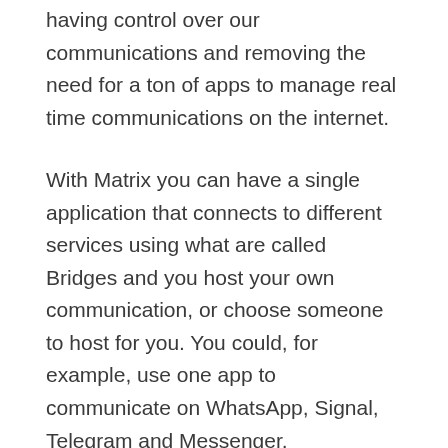having control over our communications and removing the need for a ton of apps to manage real time communications on the internet.
With Matrix you can have a single application that connects to different services using what are called Bridges and you host your own communication, or choose someone to host for you. You could, for example, use one app to communicate on WhatsApp, Signal, Telegram and Messenger.